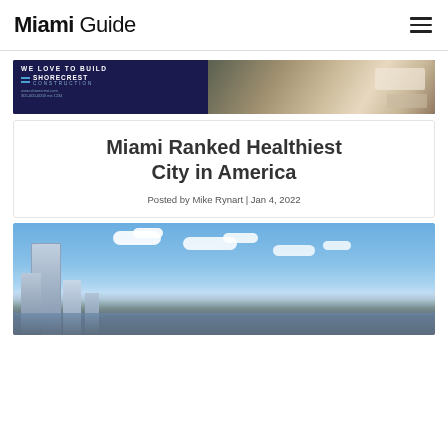Miami Guide
[Figure (photo): Shorecrest Construction advertisement banner: dark blue left side with 'WE LOVE TO BUILD' and Shorecrest Construction logo, right side showing a modern interior/exterior scene]
Miami Ranked Healthiest City in America
Posted by Mike Rynart | Jan 4, 2022
[Figure (photo): Aerial or waterfront view of Miami skyline with modern glass skyscrapers against a blue sky with clouds]